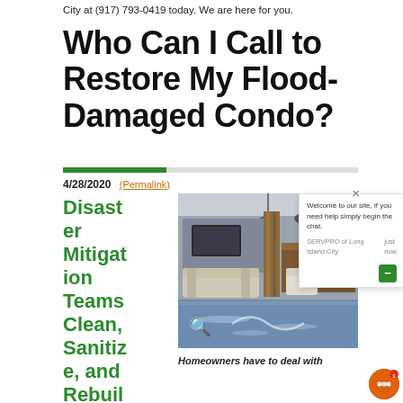City at (917) 793-0419 today. We are here for you.
Who Can I Call to Restore My Flood-Damaged Condo?
4/28/2020 (Permalink)
Disaster Mitigation Teams Clean, Sanitize, and Rebuild
[Figure (photo): A flooded modern condo living room with water covering the floor, furniture floating, pendant lights hanging from ceiling.]
Homeowners have to deal with
Welcome to our site, if you need help simply begin the chat. SERVPRO of Long Island City just now